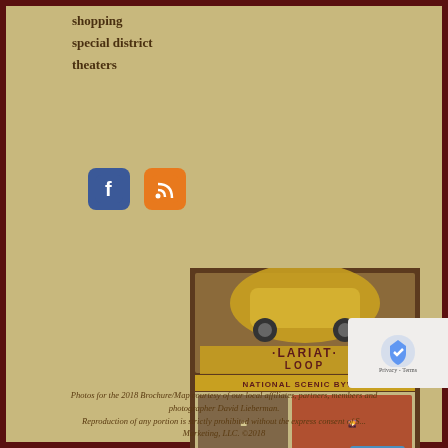shopping
special district
theaters
[Figure (infographic): Social media icons: Facebook (blue rounded square with F logo) and RSS feed (orange rounded square with wifi-style signal logo)]
[Figure (infographic): Lariat Loop National Scenic Byway advertisement brochure cover showing a yellow jeep, mountains, red rocks, and text '40 Miles of Western Adventure lariatloop.org']
Photos for the 2018 Brochure/Map courtesy of our local affiliates, partners, members and photographer David Lieberman. Reproduction of any portion is strictly prohibited without the express consent of S... Marketing, LLC. ©2018